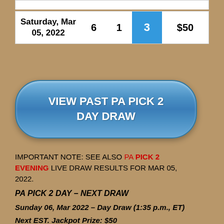| Date | Ball 1 | Ball 2 | Ball 3 | Prize |
| --- | --- | --- | --- | --- |
| Saturday, Mar 05, 2022 | 6 | 1 | 3 | $50 |
[Figure (other): Blue rounded button with text 'VIEW PAST PA PICK 2 DAY DRAW']
IMPORTANT NOTE: SEE ALSO PA PICK 2 EVENING LIVE DRAW RESULTS FOR MAR 05, 2022.
PA PICK 2 DAY – NEXT DRAW
Sunday 06, Mar 2022 – Day Draw (1:35 p.m., ET)
Next EST. Jackpot Prize: $50